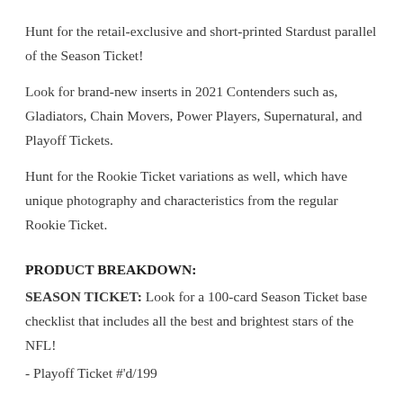Hunt for the retail-exclusive and short-printed Stardust parallel of the Season Ticket!
Look for brand-new inserts in 2021 Contenders such as, Gladiators, Chain Movers, Power Players, Supernatural, and Playoff Tickets.
Hunt for the Rookie Ticket variations as well, which have unique photography and characteristics from the regular Rookie Ticket.
PRODUCT BREAKDOWN:
SEASON TICKET: Look for a 100-card Season Ticket base checklist that includes all the best and brightest stars of the NFL!
- Playoff Ticket #'d/199